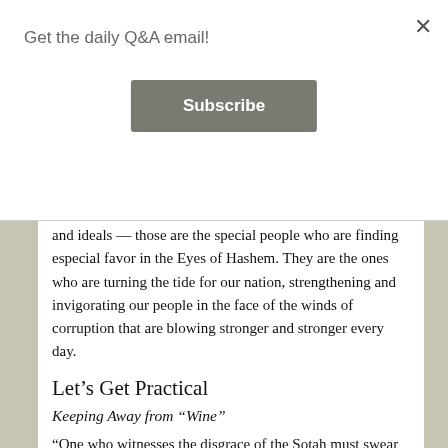Get the daily Q&A email!
Subscribe
and ideals — those are the special people who are finding especial favor in the Eyes of Hashem. They are the ones who are turning the tide for our nation, strengthening and invigorating our people in the face of the winds of corruption that are blowing stronger and stronger every day.
Let's Get Practical
Keeping Away from “Wine”
“One who witnesses the disgrace of the Sotah must swear off wine”. We are witness to the great moral decline of society at levels unheard of before. This means that we must bend over backwards to resist being influenced by the winds that are blowing. This week I will bli neder take one